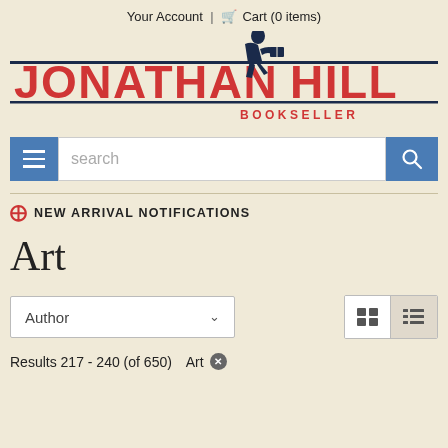Your Account  |  Cart (0 items)
[Figure (logo): Jonathan Hill Bookseller logo with stylized figure reading a book, red text on navy lines]
search
+ NEW ARRIVAL NOTIFICATIONS
Art
Author
Results 217 - 240 (of 650)  Art ×